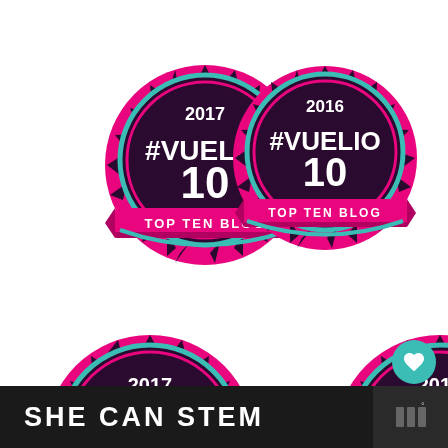[Figure (illustration): Vuelio #10 Top Ten Blog 2017 badge - circular badge with dark purple center, pink and cyan rings, spiky outer edge, ribbon banner at bottom saying TOP TEN BLOG]
[Figure (illustration): Vuelio #10 Top Ten Blog 2016 badge - circular badge with dark purple center, pink and cyan rings, spiky outer edge, ribbon banner at bottom saying TOP TEN BLOG]
[Figure (illustration): Vuelio #Vuelio 2017 badge - partially visible at bottom left, circular badge with dark purple center, pink and cyan rings, spiky outer edge]
[Figure (illustration): Vuelio #Vuelio 2018 badge - partially visible at bottom right, circular badge with dark purple center, pink and cyan rings, spiky outer edge]
[Figure (infographic): Like button UI: teal heart icon button with count of 1, and a share button below]
[Figure (screenshot): What's Next overlay: teal arrow label 'WHAT'S NEXT' with thumbnail and text 'Family Day out in...']
SHE CAN STEM
[Figure (screenshot): Partial image at bottom right corner showing dark stripes, possibly a video thumbnail with muted icon]